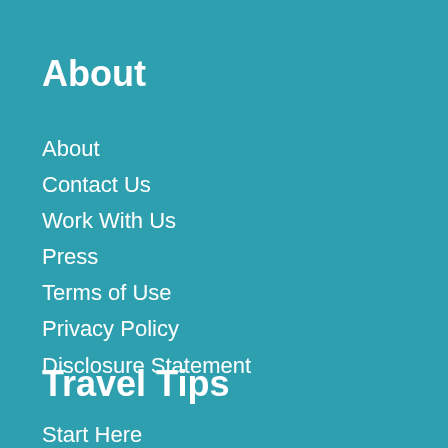About
About
Contact Us
Work With Us
Press
Terms of Use
Privacy Policy
Disclosure Statement
Travel Tips
Start Here
Destinations